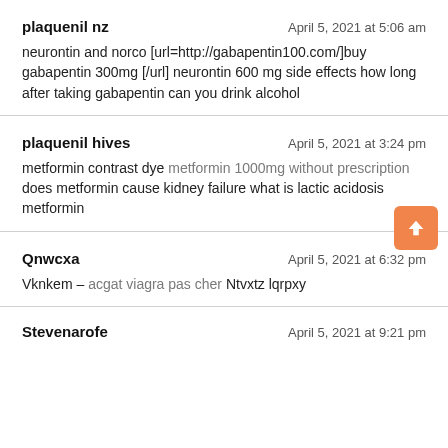plaquenil nz — April 5, 2021 at 5:06 am
neurontin and norco [url=http://gabapentin100.com/]buy gabapentin 300mg [/url] neurontin 600 mg side effects how long after taking gabapentin can you drink alcohol
plaquenil hives — April 5, 2021 at 3:24 pm
metformin contrast dye metformin 1000mg without prescription does metformin cause kidney failure what is lactic acidosis metformin
Qnwcxa — April 5, 2021 at 6:32 pm
Vknkem – acgat viagra pas cher Ntvxtz lqrpxy
Stevenarofe — April 5, 2021 at 9:21 pm